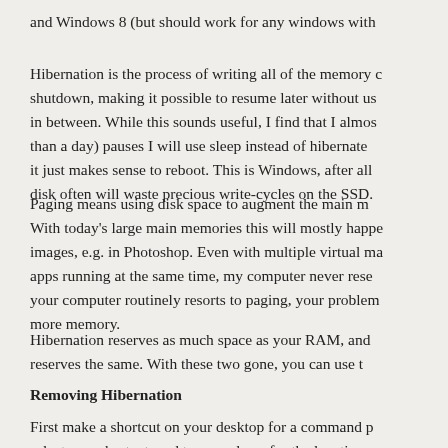and Windows 8 (but should work for any windows with
Hibernation is the process of writing all of the memory c shutdown, making it possible to resume later without us in between. While this sounds useful, I find that I almos than a day) pauses I will use sleep instead of hibernate it just makes sense to reboot. This is Windows, after all disk often will waste precious write-cycles on the SSD.
Paging means using disk space to augment the main m With today's large main memories this will mostly happe images, e.g. in Photoshop. Even with multiple virtual ma apps running at the same time, my computer never rese your computer routinely resorts to paging, your problem more memory.
Hibernation reserves as much space as your RAM, and reserves the same. With these two gone, you can use t
Removing Hibernation
First make a shortcut on your desktop for a command p select new shortcut, and type cmd.exe for the location.